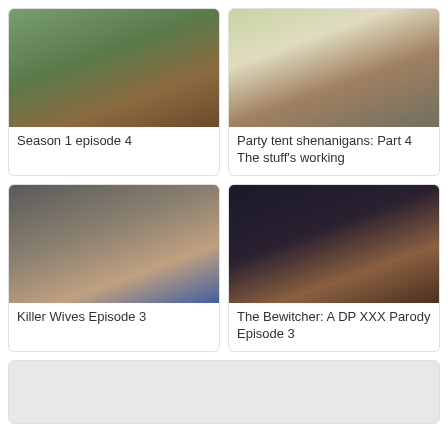[Figure (photo): Thumbnail image for Season 1 episode 4]
Season 1 episode 4
[Figure (photo): Thumbnail image for Party tent shenanigans: Part 4 The stuff's working]
Party tent shenanigans: Part 4 The stuff's working
[Figure (photo): Thumbnail image for Killer Wives Episode 3]
Killer Wives Episode 3
[Figure (photo): Thumbnail image for The Bewitcher: A DP XXX Parody Episode 3]
The Bewitcher: A DP XXX Parody Episode 3